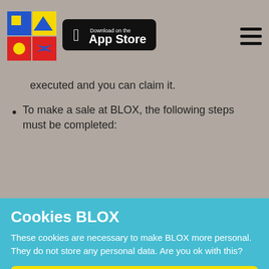BLOX logo | Download on the App Store | hamburger menu
executed and you can claim it.
To make a sale at BLOX, the following steps must be completed:
Cookies BLOX
These cookies are necessary to make BLOX more personal. They do not store any personal data. Are you ok with this?
Accept
Learn More